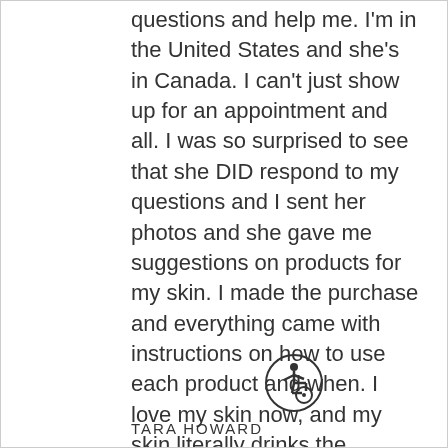questions and help me. I'm in the United States and she's in Canada. I can't just show up for an appointment and all. I was so surprised to see that she DID respond to my questions and I sent her photos and she gave me suggestions on products for my skin. I made the purchase and everything came with instructions on how to use each product and when. I love my skin now, and my skin literally drinks the products !!!! Thanks again!!!!
[Figure (illustration): Accessibility wheelchair icon — a circle outline containing a stylized person in a wheelchair]
TARA HOWARD